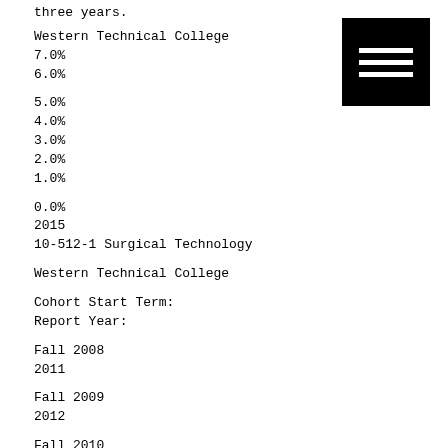three years.
Western Technical College
7.0%
6.0%
5.0%
4.0%
3.0%
2.0%
1.0%
0.0%
2015
10-512-1 Surgical Technology
Western Technical College
Cohort Start Term:
Report Year:
Fall 2008
2011
Fall 2009
2012
Fall 2010
2013
[Figure (other): Menu/hamburger icon button - black square with three white horizontal lines]